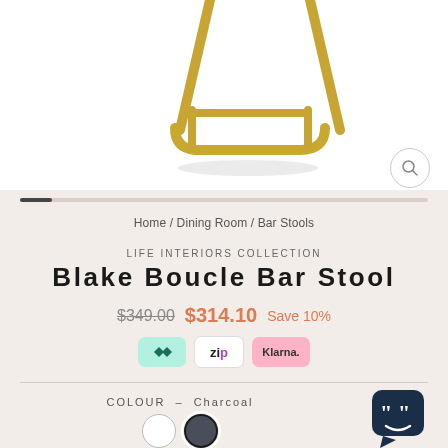[Figure (photo): Bottom portion of a gold metallic bar stool frame with cantilever base on white background]
Home / Dining Room / Bar Stools
LIFE INTERIORS COLLECTION
Blake Boucle Bar Stool
$349.00  $314.10  Save 10%
[Figure (logo): Payment logos: Afterpay, Zip, Klarna]
COLOUR — Charcoal
[Figure (illustration): Two colour swatches: white and charcoal (selected)]
[Figure (other): Chat widget icon in bottom right]